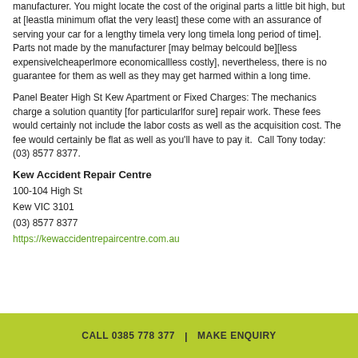manufacturer. You might locate the cost of the original parts a little bit high, but at [leastla minimum oflat the very least] these come with an assurance of serving your car for a lengthy timela very long timela long period of time]. Parts not made by the manufacturer [may belmay belcould be][less expensivelcheaperlmore economicallless costly], nevertheless, there is no guarantee for them as well as they may get harmed within a long time.
Panel Beater High St Kew Apartment or Fixed Charges: The mechanics charge a solution quantity [for particularlfor sure] repair work. These fees would certainly not include the labor costs as well as the acquisition cost. The fee would certainly be flat as well as you'll have to pay it.  Call Tony today: (03) 8577 8377.
Kew Accident Repair Centre
100-104 High St
Kew VIC 3101
(03) 8577 8377
https://kewaccidentrepaircentre.com.au
CALL 0385 778 377  |  MAKE ENQUIRY